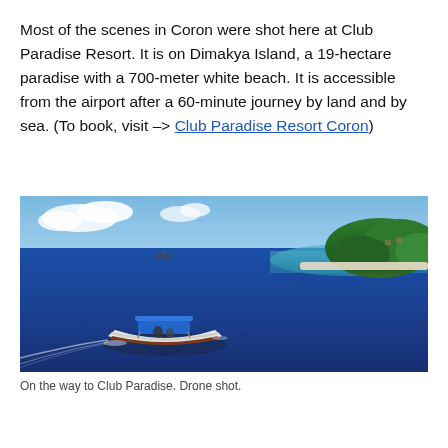Most of the scenes in Coron were shot here at Club Paradise Resort. It is on Dimakya Island, a 19-hectare paradise with a 700-meter white beach. It is accessible from the airport after a 60-minute journey by land and by sea. (To book, visit -> Club Paradise Resort Coron)
[Figure (photo): Aerial drone shot of a white motorboat with a blue canopy moving across deep blue ocean water, with a tropical island featuring white beach and green hills visible in the background, under a blue sky with some clouds.]
On the way to Club Paradise. Drone shot.